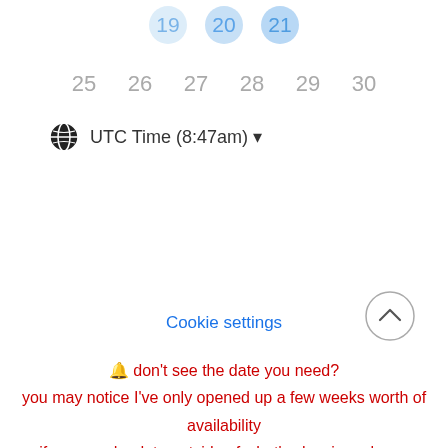[Figure (screenshot): Partial calendar row showing highlighted dates (19, 20, 21 partially visible at top) with blue circle highlights]
25  26  27  28  29  30
UTC Time (8:47am) ▾
Cookie settings
[Figure (other): Back to top button — circle with upward chevron]
🔔 don't see the date you need?
you may notice I've only opened up a few weeks worth of availability
if you need a date outside of what's showing, please [show] what date so I